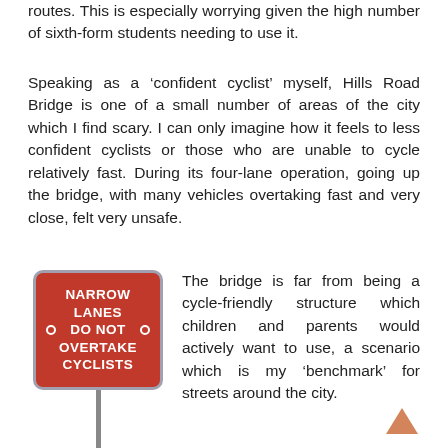routes. This is especially worrying given the high number of sixth-form students needing to use it.
Speaking as a ‘confident cyclist’ myself, Hills Road Bridge is one of a small number of areas of the city which I find scary. I can only imagine how it feels to less confident cyclists or those who are unable to cycle relatively fast. During its four-lane operation, going up the bridge, with many vehicles overtaking fast and very close, felt very unsafe.
[Figure (photo): Road sign reading 'NARROW LANES DO NOT OVERTAKE CYCLISTS' in white text on a red background with a grey border, mounted on a pole.]
The bridge is far from being a cycle-friendly structure which children and parents would actively want to use, a scenario which is my ‘benchmark’ for streets around the city.